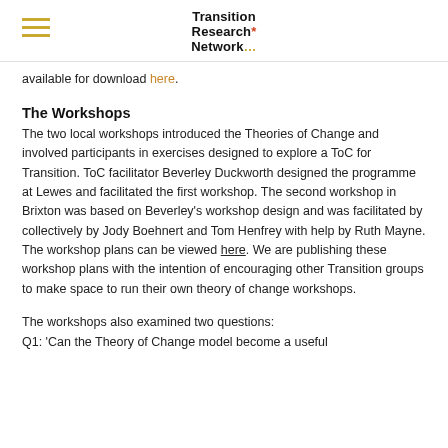Transition Research Network
available for download here.
The Workshops
The two local workshops introduced the Theories of Change and involved participants in exercises designed to explore a ToC for Transition. ToC facilitator Beverley Duckworth designed the programme at Lewes and facilitated the first workshop. The second workshop in Brixton was based on Beverley's workshop design and was facilitated by collectively by Jody Boehnert and Tom Henfrey with help by Ruth Mayne. The workshop plans can be viewed here. We are publishing these workshop plans with the intention of encouraging other Transition groups to make space to run their own theory of change workshops.
The workshops also examined two questions:
Q1: 'Can the Theory of Change model become a useful